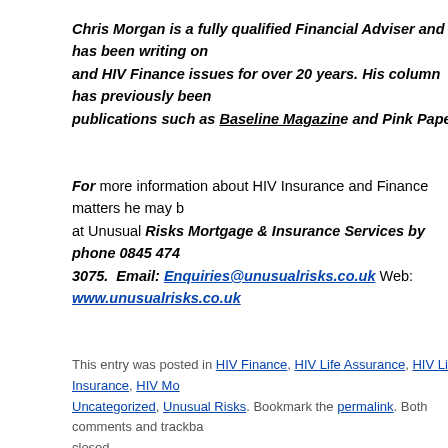Chris Morgan is a fully qualified Financial Adviser and has been writing on and HIV Finance issues for over 20 years. His column has previously been in publications such as Baseline Magazine and Pink Paper.
For more information about HIV Insurance and Finance matters he may be contacted at Unusual Risks Mortgage & Insurance Services by phone 0845 474 3075. Email: Enquiries@unusualrisks.co.uk Web: www.unusualrisks.co.uk
This entry was posted in HIV Finance, HIV Life Assurance, HIV Life Insurance, HIV Mo..., Uncategorized, Unusual Risks. Bookmark the permalink. Both comments and trackbacks are closed.
« HIV & Insurance Column – Edition 14 – November 2021   HIV & Insurance Column – Edition...